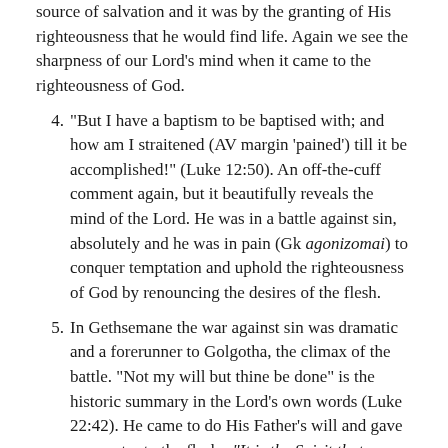source of salvation and it was by the granting of His righteousness that he would find life. Again we see the sharpness of our Lord's mind when it came to the righteousness of God.
4. "But I have a baptism to be baptised with; and how am I straitened (AV margin 'pained') till it be accomplished!" (Luke 12:50). An off-the-cuff comment again, but it beautifully reveals the mind of the Lord. He was in a battle against sin, absolutely and he was in pain (Gk agonizomai) to conquer temptation and uphold the righteousness of God by renouncing the desires of the flesh.
5. In Gethsemane the war against sin was dramatic and a forerunner to Golgotha, the climax of the battle. "Not my will but thine be done" is the historic summary in the Lord's own words (Luke 22:42). He came to do His Father's will and gave no quarter to the flesh: "It is the Spirit that quickeneth; the flesh profiteth nothing" (John 6:63); "I seek not mine own will, but the will of the Father which hath sent me" (John 5:30). What wonderful words these are and they constrain us to adopt the same mind for